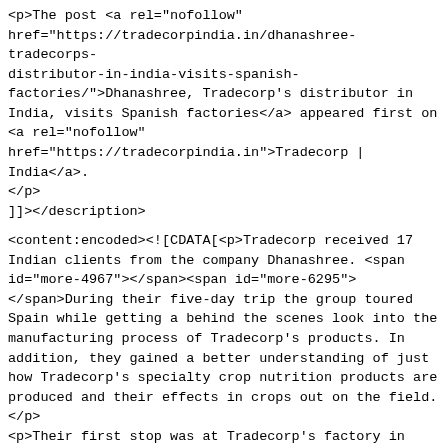<p>The post <a rel="nofollow" href="https://tradecorpindia.in/dhanashree-tradecorps-distributor-in-india-visits-spanish-factories/">Dhanashree, Tradecorp's distributor in India, visits Spanish factories</a> appeared first on <a rel="nofollow" href="https://tradecorpindia.in">Tradecorp | India</a>.</p>
]]></description>
<content:encoded><![CDATA[<p>Tradecorp received 17 Indian clients from the company Dhanashree. <span id="more-4967"></span><span id="more-6295"> </span>During their five-day trip the group toured Spain while getting a behind the scenes look into the manufacturing process of Tradecorp's products. In addition, they gained a better understanding of just how Tradecorp's specialty crop nutrition products are produced and their effects in crops out on the field.</p>
<p>Their first stop was at Tradecorp's factory in Albacete, where the company's liquid products are produced. Here, the Indian clients were introduced to various aspects of the facility such as the reactors, raw material warehouses, the drying tower along with the company's label machine that allows the Company to create personalized labels not only for each designated country, but also for every client's needs.</p>
<p>In addition, The Dhanashree clients then visited the factory's onsite laboratory where they were introduced